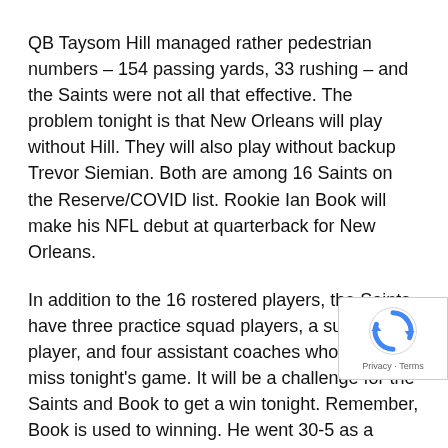QB Taysom Hill managed rather pedestrian numbers – 154 passing yards, 33 rushing – and the Saints were not all that effective. The problem tonight is that New Orleans will play without Hill. They will also play without backup Trevor Siemian. Both are among 16 Saints on the Reserve/COVID list. Rookie Ian Book will make his NFL debut at quarterback for New Orleans.
In addition to the 16 rostered players, the Saints have three practice squad players, a suspended player, and four assistant coaches who will all miss tonight's game. It will be a challenge for the Saints and Book to get a win tonight. Remember, Book is used to winning. He went 30-5 as a starter at Notre Dame where he was the winningest quarterback in school history.
Miami has not only won its last six games in a row, but
[Figure (logo): Google reCAPTCHA badge with spinning arrows logo and Privacy · Terms text]